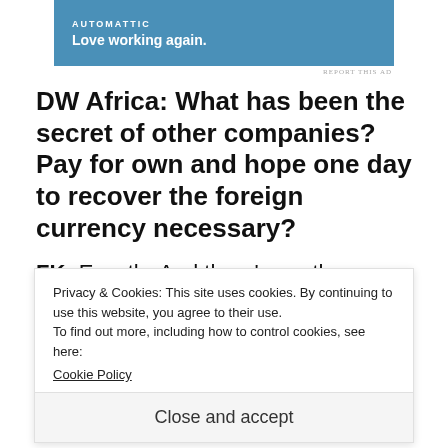[Figure (other): Automattic advertisement banner with blue background, 'AUTOMATTIC' text and tagline 'Love working again.']
REPORT THIS AD
DW Africa: What has been the secret of other companies? Pay for own and hope one day to recover the foreign currency necessary?
FK: Exactly. And there's another option: some companies that are subsidiaries of German c... they are affiliated. Economically, these
Privacy & Cookies: This site uses cookies. By continuing to use this website, you agree to their use.
To find out more, including how to control cookies, see here:
Cookie Policy
Close and accept